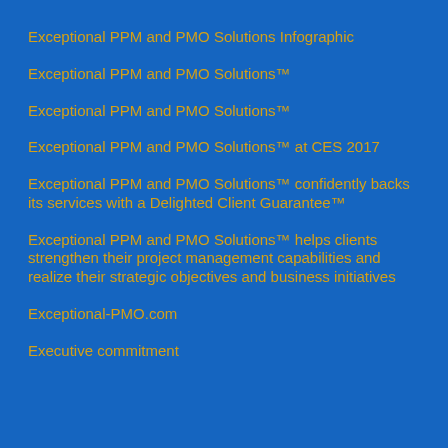Exceptional PPM and PMO Solutions Infographic
Exceptional PPM and PMO Solutions™
Exceptional PPM and PMO Solutions™
Exceptional PPM and PMO Solutions™ at CES 2017
Exceptional PPM and PMO Solutions™ confidently backs its services with a Delighted Client Guarantee™
Exceptional PPM and PMO Solutions™ helps clients strengthen their project management capabilities and realize their strategic objectives and business initiatives
Exceptional-PMO.com
Executive commitment